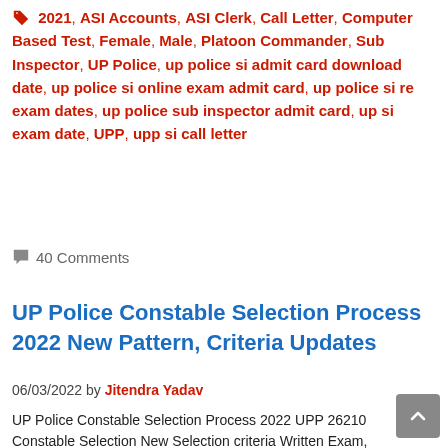2021, ASI Accounts, ASI Clerk, Call Letter, Computer Based Test, Female, Male, Platoon Commander, Sub Inspector, UP Police, up police si admit card download date, up police si online exam admit card, up police si re exam dates, up police sub inspector admit card, up si exam date, UPP, upp si call letter
40 Comments
UP Police Constable Selection Process 2022 New Pattern, Criteria Updates
06/03/2022 by Jitendra Yadav
UP Police Constable Selection Process 2022 UPP 26210 Constable Selection New Selection criteria Written Exam, Medical, Merit Based Selection criteria...